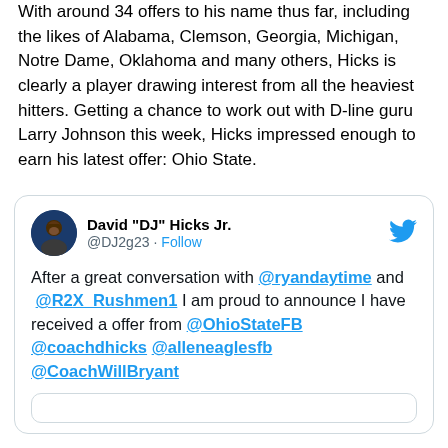With around 34 offers to his name thus far, including the likes of Alabama, Clemson, Georgia, Michigan, Notre Dame, Oklahoma and many others, Hicks is clearly a player drawing interest from all the heaviest hitters. Getting a chance to work out with D-line guru Larry Johnson this week, Hicks impressed enough to earn his latest offer: Ohio State.
[Figure (screenshot): Embedded tweet from @DJ2g23 (David 'DJ' Hicks Jr.) announcing receipt of an offer from Ohio State Football, mentioning @ryandaytime, @R2X_Rushmen1, @OhioStateFB, @coachdhicks, @alleneaglesfb, @CoachWillBryant]